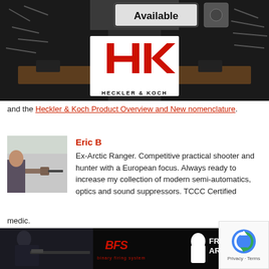[Figure (photo): Interior of a gun store/armory showroom with weapons displayed on dark walls, conference table with chairs, 'Available' sign visible, Heckler & Koch logo overlay with red and white HK logo and text 'HECKLER & KOCH']
and the Heckler & Koch Product Overview and New nomenclature.
[Figure (photo): Person holding a pistol at a shooting range, photo of author Eric B]
Eric B
Ex-Arctic Ranger. Competitive practical shooter and hunter with a European focus. Always ready to increase my collection of modern semi-automatics, optics and sound suppressors. TCCC Certified medic.
[Figure (photo): Franklin Armory advertisement banner showing person in tactical gear with rifle, BFS logo (Binary Firing System), Franklin Armory logo with head silhouette icon, black background]